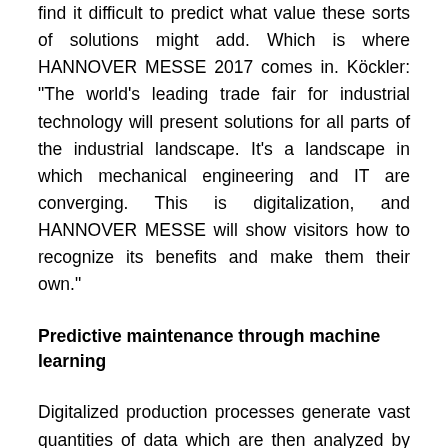find it difficult to predict what value these sorts of solutions might add. Which is where HANNOVER MESSE 2017 comes in. Köckler: "The world's leading trade fair for industrial technology will present solutions for all parts of the industrial landscape. It's a landscape in which mechanical engineering and IT are converging. This is digitalization, and HANNOVER MESSE will show visitors how to recognize its benefits and make them their own."
Predictive maintenance through machine learning
Digitalized production processes generate vast quantities of data which are then analyzed by various upstream and downstream systems. In the not-too-distant future, manufacturing systems will incorporate